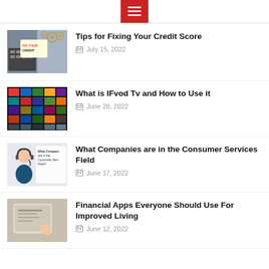☰
Tips for Fixing Your Credit Score
July 15, 2022
[Figure (photo): Photo showing 'FIX YOUR CREDIT' text on a note with keyboard and gears]
What is IFvod Tv and How to Use it
June 28, 2022
[Figure (photo): Screenshot of a TV streaming grid with many colorful thumbnails]
What Companies are in the Consumer Services Field
June 17, 2022
[Figure (photo): Illustration showing customer service agent with text 'What Companies are in the Consumer Services Field?']
Financial Apps Everyone Should Use For Improved Living
June 12, 2022
[Figure (photo): Photo of a person using a tablet, financial apps context]